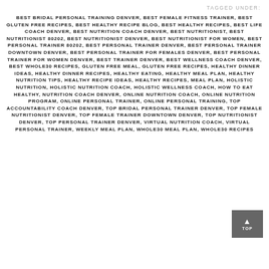TAGGED UNDER:
BEST BRIDAL PERSONAL TRAINING DENVER, BEST FEMALE FITNESS TRAINER, BEST GLUTEN FREE RECIPES, BEST HEALTHY RECIPE BLOG, BEST HEALTHY RECIPES, BEST LIFE COACH DENVER, BEST NUTRITION COACH DENVER, BEST NUTRITIONIST, BEST NUTRITIONIST 80202, BEST NUTRITIONIST DENVER, BEST NUTRITIONIST FOR WOMEN, BEST PERSONAL TRAINER 80202, BEST PERSONAL TRAINER DENVER, BEST PERSONAL TRAINER DOWNTOWN DENVER, BEST PERSONAL TRAINER FOR FEMALES DENVER, BEST PERSONAL TRAINER FOR WOMEN DENVER, BEST TRAINER DENVER, BEST WELLNESS COACH DENVER, BEST WHOLE30 RECIPES, GLUTEN FREE MEAL, GLUTEN FREE RECIPES, HEALTHY DINNER IDEAS, HEALTHY DINNER RECIPES, HEALTHY EATING, HEALTHY MEAL PLAN, HEALTHY NUTRITION TIPS, HEALTHY RECIPE IDEAS, HEALTHY RECIPES, MEAL PLAN, HOLISTIC NUTRITION, HOLISTIC NUTRITION COACH, HOLISTIC WELLNESS COACH, HOW TO EAT HEALTHY, NUTRITION COACH DENVER, ONLINE NUTRITION COACH, ONLINE NUTRITION PROGRAM, ONLINE PERSONAL TRAINER, ONLINE PERSONAL TRAINING, TOP ACCOUNTABILITY COACH DENVER, TOP BRIDAL PERSONAL TRAINER DENVER, TOP FEMALE NUTRITIONIST DENVER, TOP FEMALE TRAINER DOWNTOWN DENVER, TOP NUTRITIONIST DENVER, TOP PERSONAL TRAINER DENVER, VIRTUAL NUTRITION COACH, VIRTUAL PERSONAL TRAINER, WEEKLY MEAL PLAN, WHOLE30 MEAL PLAN, WHOLE30 RECIPES